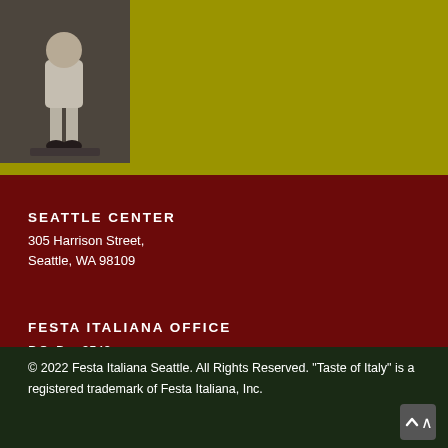[Figure (photo): Black and white photograph of a small child standing, viewed from behind, wearing light-colored clothing]
SEATTLE CENTER
305 Harrison Street,
Seattle, WA 98109
FESTA ITALIANA OFFICE
P.O. Box 9549
Seattle, WA 98109-0549
(206) 282-0627
© 2022 Festa Italiana Seattle. All Rights Reserved. "Taste of Italy" is a registered trademark of Festa Italiana, Inc.